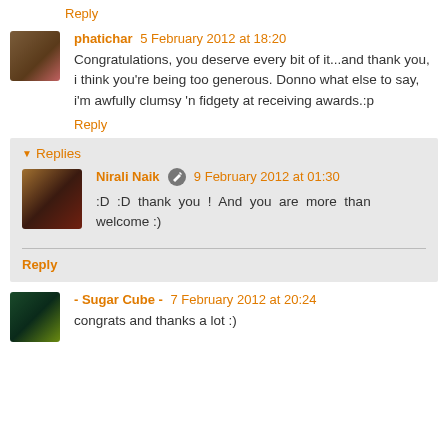Reply
phatichar 5 February 2012 at 18:20
Congratulations, you deserve every bit of it...and thank you, i think you're being too generous. Donno what else to say, i'm awfully clumsy 'n fidgety at receiving awards.:p
Reply
Replies
Nirali Naik 9 February 2012 at 01:30
:D :D thank you ! And you are more than welcome :)
Reply
- Sugar Cube - 7 February 2012 at 20:24
congrats and thanks a lot :)